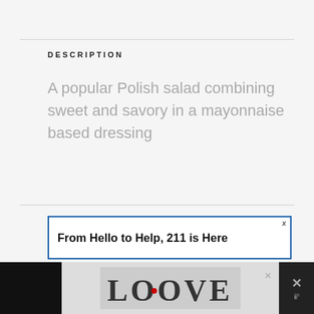DESCRIPTION
A popular Polish salad combining sweet and savory in a mayonnaise based dressing
[Figure (other): Advertisement banner: 'From Hello to Help, 211 is Here' with blue border and close button]
INGREDIENTS
SCALE  1X  2X  3X
[Figure (other): Bottom advertisement bar with LOOVE graphic text and close button]